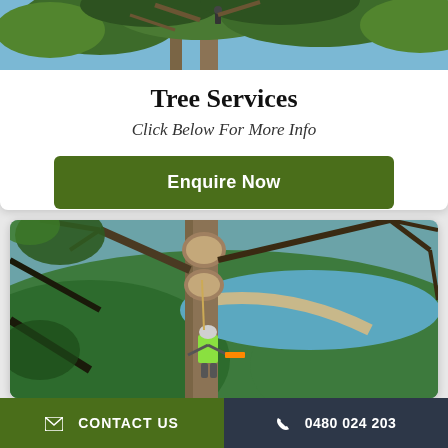[Figure (photo): Tree canopy with worker climbing in trees, blue sky visible through branches]
Tree Services
Click Below For More Info
Enquire Now
[Figure (photo): Arborist in yellow high-visibility jacket and helmet climbing a tall tree with limbs cut off, with a scenic lake and green hillsides in the background]
✉ CONTACT US  ☎ 0480 024 203